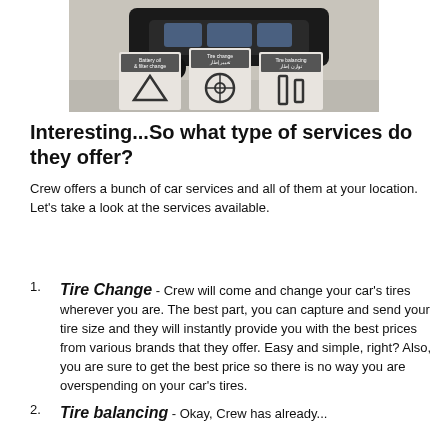[Figure (photo): Photo of a dark SUV being serviced, with three signs in the foreground showing icons and text for Battery oil & filter change, Tire change, and Tire balancing services, with Arabic text below each heading.]
Interesting...So what type of services do they offer?
Crew offers a bunch of car services and all of them at your location. Let's take a look at the services available.
Tire Change - Crew will come and change your car's tires wherever you are. The best part, you can capture and send your tire size and they will instantly provide you with the best prices from various brands that they offer. Easy and simple, right? Also, you are sure to get the best price so there is no way you are overspending on your car's tires.
Tire balancing - Okay, Crew has already...